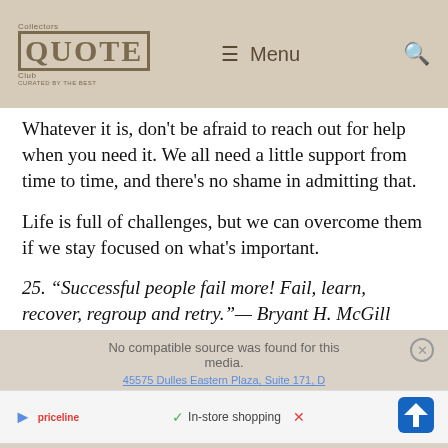Collectors Quote Club — Menu (navigation bar)
Whatever it is, don't be afraid to reach out for help when you need it. We all need a little support from time to time, and there's no shame in admitting that.
Life is full of challenges, but we can overcome them if we stay focused on what's important.
25. “Successful people fail more! Fail, learn, recover, regroup and retry.”— Bryant H. McGill
[Figure (screenshot): Advertisement overlay with 'No compatible source was found for this media' message, address '45575 Dulles Eastern Plaza, Suite 171, D', and in-store shopping indicator with navigation icons.]